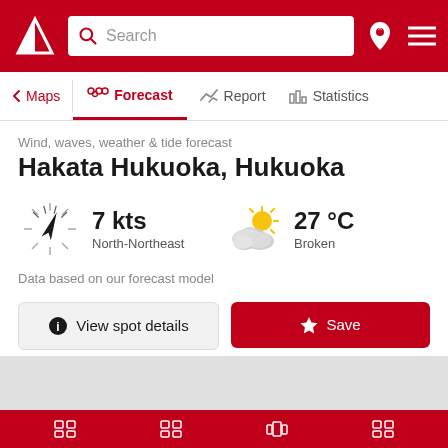[Figure (screenshot): Red app header with white logo (triangular sail icon), search bar, location pin icon, and hamburger menu]
Search
Maps | Forecast | Report | Statistics
Wind, waves, weather & tide forecast
Hakata Hukuoka, Hukuoka
[Figure (illustration): Wind direction arrow pointing NNE with radiating tick marks]
7 kts
North-Northeast
[Figure (illustration): Partly cloudy weather icon with sun and clouds]
27 °C
Broken
Data based on our forecast model
View spot details
Save